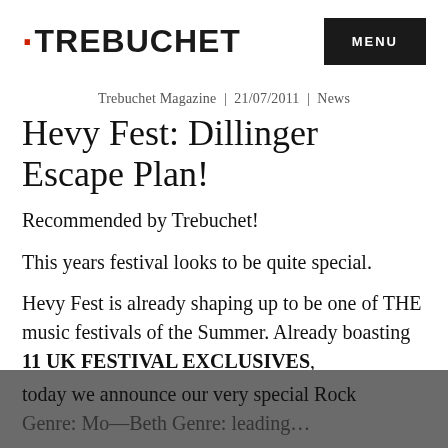TREBUCHET   MENU
Trebuchet Magazine  |  21/07/2011  |  News
Hevy Fest: Dillinger Escape Plan!
Recommended by Trebuchet!
This years festival looks to be quite special.
Hevy Fest is already shaping up to be one of THE music festivals of the Summer. Already boasting 11 UK FESTIVAL EXCLUSIVES, today we announce our very special Rock
Genre: Mo—Beth Genre: leading…